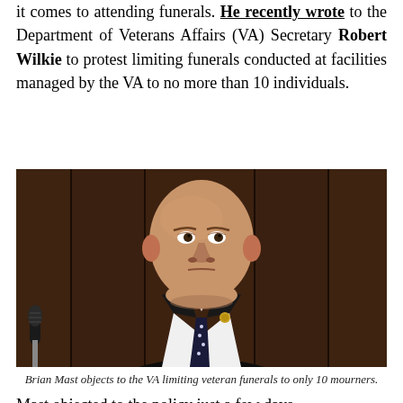it comes to attending funerals. He recently wrote to the Department of Veterans Affairs (VA) Secretary Robert Wilkie to protest limiting funerals conducted at facilities managed by the VA to no more than 10 individuals.
[Figure (photo): A bald man in a dark suit and dark tie with white polka dots, sitting in front of wooden paneling, with a microphone visible in the lower left corner.]
Brian Mast objects to the VA limiting veteran funerals to only 10 mourners.
Mast objected to the policy just a few days